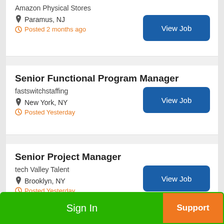Amazon Physical Stores · Paramus, NJ · Posted 2 months ago · View Job
Senior Functional Program Manager · fastswitchstaffing · New York, NY · Posted Yesterday · View Job
Senior Project Manager · tech Valley Talent · Brooklyn, NY · Posted Yesterday · View Job
Senior Project Manager (Retail)
Sign In
Support